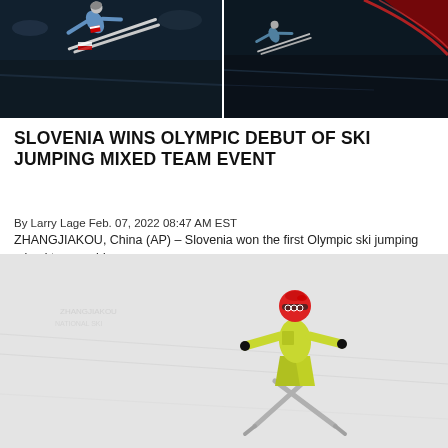[Figure (photo): Two ski jumpers mid-air against a dark night/dusk sky background, split into two panels side by side]
SLOVENIA WINS OLYMPIC DEBUT OF SKI JUMPING MIXED TEAM EVENT
By Larry Lage Feb. 07, 2022 08:47 AM EST
ZHANGJIAKOU, China (AP) – Slovenia won the first Olympic ski jumping mixed team gold
[Figure (photo): Ski jumper in bright yellow suit with red helmet soaring through the air against a light grey snowy slope background]